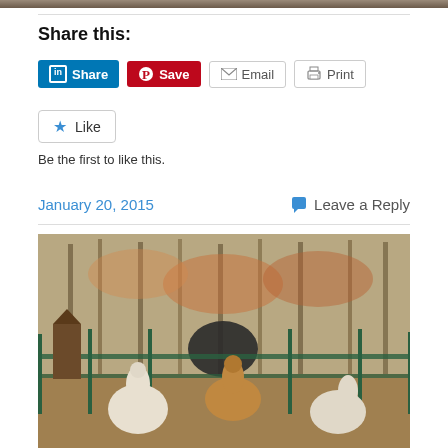[Figure (photo): Top portion of a photo, dark tones, appears to be animals or landscape]
Share this:
[Figure (infographic): Social share buttons: LinkedIn Share, Pinterest Save, Email, Print]
[Figure (infographic): Like button with star icon]
Be the first to like this.
January 20, 2015
Leave a Reply
[Figure (photo): Photo of llamas/alpacas in a fenced enclosure surrounded by trees in autumn]